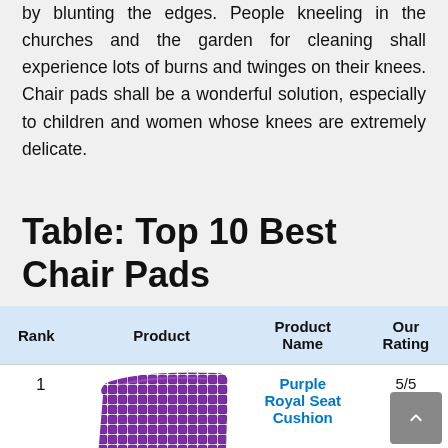by blunting the edges. People kneeling in the churches and the garden for cleaning shall experience lots of burns and twinges on their knees. Chair pads shall be a wonderful solution, especially to children and women whose knees are extremely delicate.
Table: Top 10 Best Chair Pads
| Rank | Product | Product Name | Our Rating |
| --- | --- | --- | --- |
| 1 | [image] | Purple Royal Seat Cushion | 5/5 |